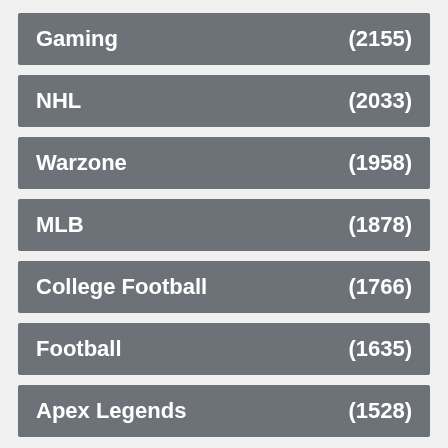Gaming (2155)
NHL (2033)
Warzone (1958)
MLB (1878)
College Football (1766)
Football (1635)
Apex Legends (1528)